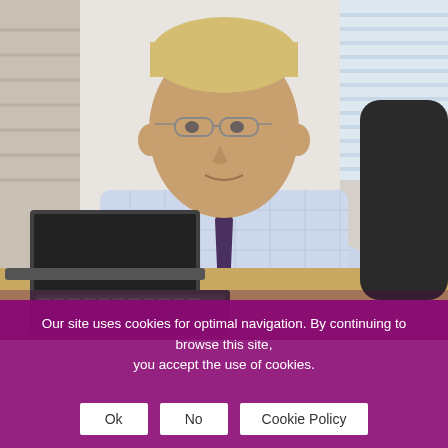[Figure (photo): A professional-looking middle-aged man with blonde hair and glasses, wearing a light blue checked shirt and dark purple tie, seated at an office desk with a laptop computer and keyboard in front of him. The background shows venetian blinds. The image appears to be a business or corporate portrait.]
Our site uses cookies for optimal navigation. By continuing to browse this site, you accept the use of cookies.
Ok | No | Cookie Policy